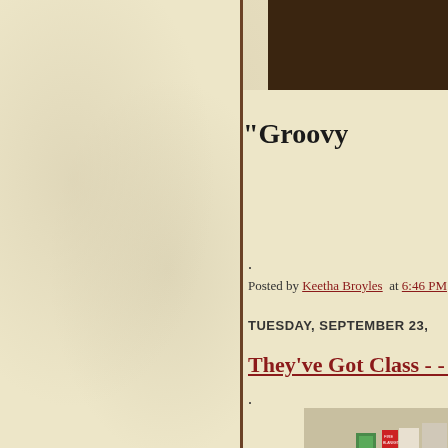"Groovy
.
Posted by Keetha Broyles at 6:46 PM 1
TUESDAY, SEPTEMBER 23,
They've Got Class - - -
.
[Figure (photo): A science classroom with students seated at lab tables. In the foreground, a student in a gray shirt sits with back to camera, and a girl with curly red hair in a red shirt sits at another table. At the front, a teacher/student in blue stands at a lab bench. Fire blanket sign and green safety sign visible on wall.]